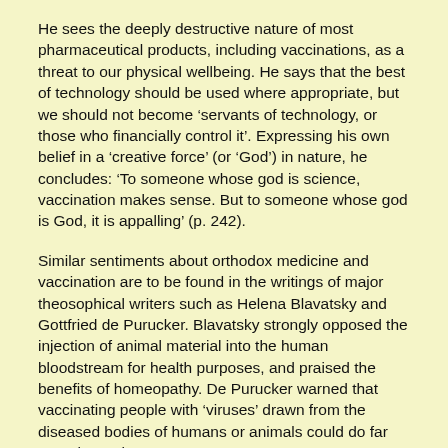He sees the deeply destructive nature of most pharmaceutical products, including vaccinations, as a threat to our physical wellbeing. He says that the best of technology should be used where appropriate, but we should not become ‘servants of technology, or those who financially control it’. Expressing his own belief in a ‘creative force’ (or ‘God’) in nature, he concludes: ‘To someone whose god is science, vaccination makes sense. But to someone whose god is God, it is appalling’ (p. 242).
Similar sentiments about orthodox medicine and vaccination are to be found in the writings of major theosophical writers such as Helena Blavatsky and Gottfried de Purucker. Blavatsky strongly opposed the injection of animal material into the human bloodstream for health purposes, and praised the benefits of homeopathy. De Purucker warned that vaccinating people with ‘viruses’ drawn from the diseased bodies of humans or animals could do far more harm than